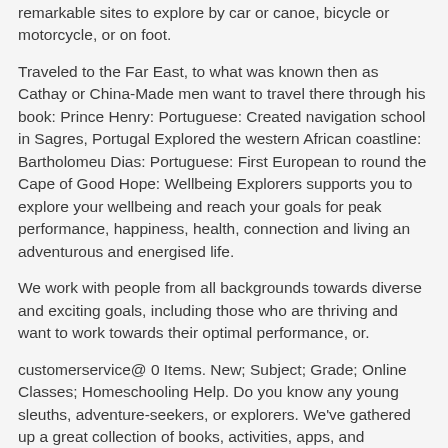remarkable sites to explore by car or canoe, bicycle or motorcycle, or on foot.
Traveled to the Far East, to what was known then as Cathay or China-Made men want to travel there through his book: Prince Henry: Portuguese: Created navigation school in Sagres, Portugal Explored the western African coastline: Bartholomeu Dias: Portuguese: First European to round the Cape of Good Hope: Wellbeing Explorers supports you to explore your wellbeing and reach your goals for peak performance, happiness, health, connection and living an adventurous and energised life.
We work with people from all backgrounds towards diverse and exciting goals, including those who are thriving and want to work towards their optimal performance, or.
customerservice@ 0 Items. New; Subject; Grade; Online Classes; Homeschooling Help. Do you know any young sleuths, adventure-seekers, or explorers. We've gathered up a great collection of books, activities, apps, and